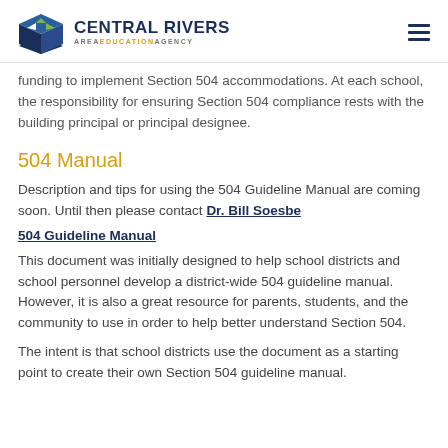Central Rivers Area Education Agency
funding to implement Section 504 accommodations.  At each school, the responsibility for ensuring Section 504 compliance rests with the building principal or principal designee.
504 Manual
Description and tips for using the 504 Guideline Manual are coming soon.  Until then please contact Dr. Bill Soesbe
504 Guideline Manual
This document was initially designed to help school districts and school personnel develop a district-wide 504 guideline manual.  However, it is also a great resource for parents, students, and the community to use in order to help better understand Section 504.
The intent is that school districts use the document as a starting point to create their own Section 504 guideline manual.